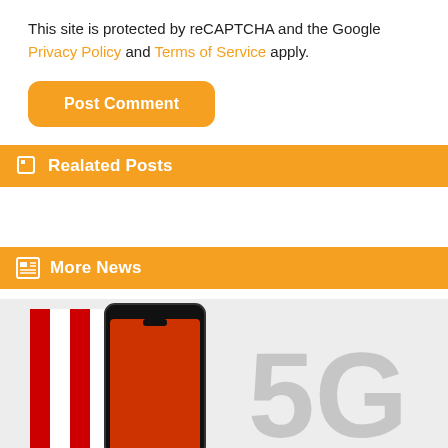This site is protected by reCAPTCHA and the Google Privacy Policy and Terms of Service apply.
Post Comment
Realated Posts
More News
[Figure (photo): Smartphone with red and white stripes on left, and bold grey '5G' text on right, on light grey background]